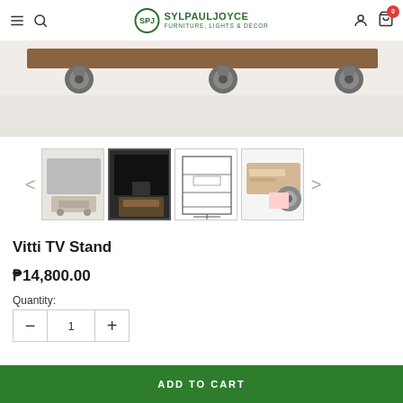SylPaulJoyce Furniture, Lights & Decor — navigation bar with menu, search, account, cart (0)
[Figure (photo): Top portion of a TV stand product photo showing a wooden shelf with industrial pipe caster wheels, cropped at the top of the page]
[Figure (photo): Thumbnail gallery strip showing 4 product images of the Vitti TV Stand: (1) front view beige/grey, (2) dark styled room setting, (3) line-drawing schematic, (4) close-up of caster wheel hardware with label. Navigation arrows on left and right.]
Vitti TV Stand
₱14,800.00
Quantity:
1
ADD TO CART